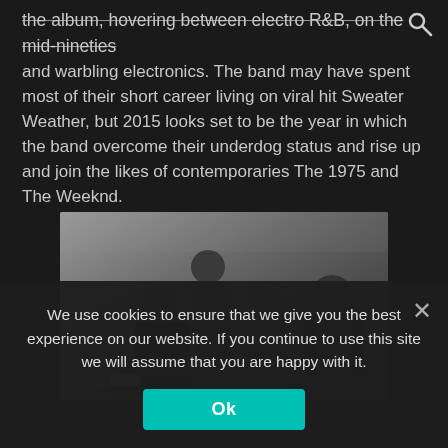🔍 (search icon)
the album, hovering between electro R&B, on the mid-nineties and warbling electronics. The band may have spent most of their short career living on viral hit Sweater Weather, but 2015 looks set to be the year in which the band overcome their underdog status and rise up and join the likes of contemporaries The 1975 and The Weeknd.
[Figure (photo): Black and white photo of five young men in a band, seated and standing together against a neutral background, dressed in dark clothing including a leather jacket.]
We use cookies to ensure that we give you the best experience on our website. If you continue to use this site we will assume that you are happy with it.
Ok